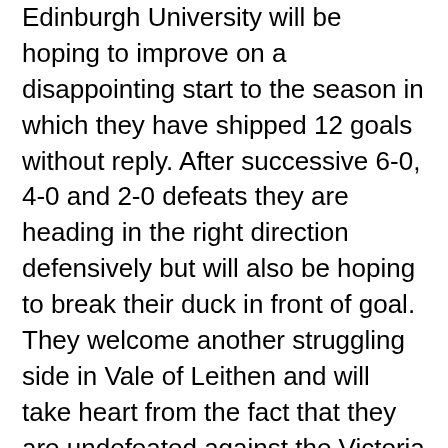Edinburgh University will be hoping to improve on a disappointing start to the season in which they have shipped 12 goals without reply. After successive 6-0, 4-0 and 2-0 defeats they are heading in the right direction defensively but will also be hoping to break their duck in front of goal. They welcome another struggling side in Vale of Leithen and will take heart from the fact that they are undefeated against the Victoria Park men since July 2017.
Vale arrive at East Peffermill on the back of heavy defeats to Bonnyrigg, East Kilbride and their Borders rivals Gala. With a goal difference one worse off than the Edinburgh side they face the same issues of defensive frailty, combined with a lack of goals – something they will need to believe they can change this weekend.
A win could see either side jump up to 4 places in what could turn out to be an early six-pointer. With weather conditions looking challenging this could add to what is already an intriguing game featuring two sides looking to get